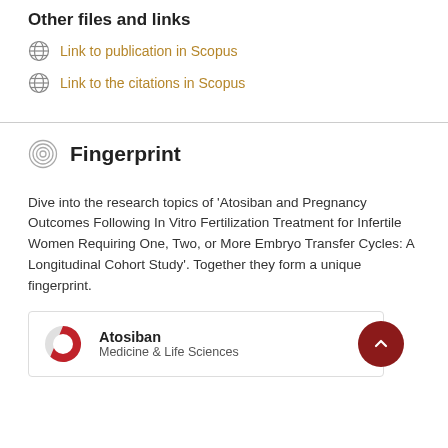Other files and links
Link to publication in Scopus
Link to the citations in Scopus
Fingerprint
Dive into the research topics of 'Atosiban and Pregnancy Outcomes Following In Vitro Fertilization Treatment for Infertile Women Requiring One, Two, or More Embryo Transfer Cycles: A Longitudinal Cohort Study'. Together they form a unique fingerprint.
Atosiban
Medicine & Life Sciences